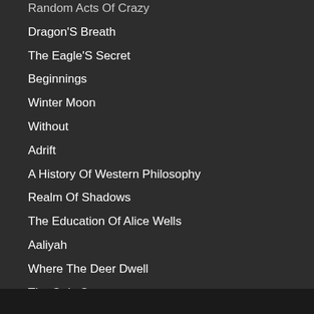Random Acts Of Crazy
Dragon'S Breath
The Eagle'S Secret
Beginnings
Winter Moon
Without
Adrift
A History Of Western Philosophy
Realm Of Shadows
The Education Of Alice Wells
Aaliyah
Where The Deer Dwell
The Only Ones